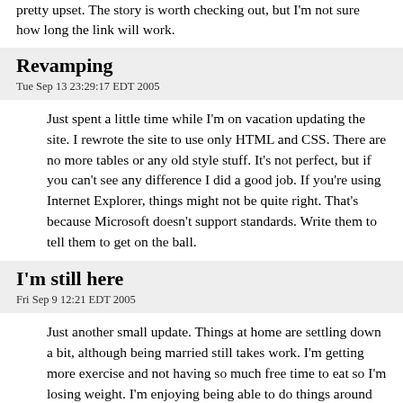pretty upset. The story is worth checking out, but I'm not sure how long the link will work.
Revamping
Tue Sep 13 23:29:17 EDT 2005
Just spent a little time while I'm on vacation updating the site. I rewrote the site to use only HTML and CSS. There are no more tables or any old style stuff. It's not perfect, but if you can't see any difference I did a good job. If you're using Internet Explorer, things might not be quite right. That's because Microsoft doesn't support standards. Write them to tell them to get on the ball.
I'm still here
Fri Sep 9 12:21 EDT 2005
Just another small update. Things at home are settling down a bit, although being married still takes work. I'm getting more exercise and not having so much free time to eat so I'm losing weight. I'm enjoying being able to do things around the house. For instance I fixed a broken vaccuum cleaner yesterday. It's a lot more enjoyable to fix stuff when someone else benefits. When I